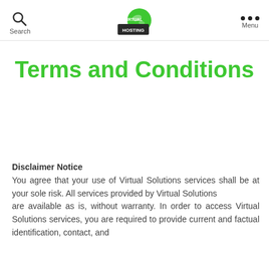Search | VIRTUAL HOSTING logo | Menu
Terms and Conditions
Disclaimer Notice
You agree that your use of Virtual Solutions services shall be at your sole risk. All services provided by Virtual Solutions are available as is, without warranty. In order to access Virtual Solutions services, you are required to provide current and factual identification, contact, and